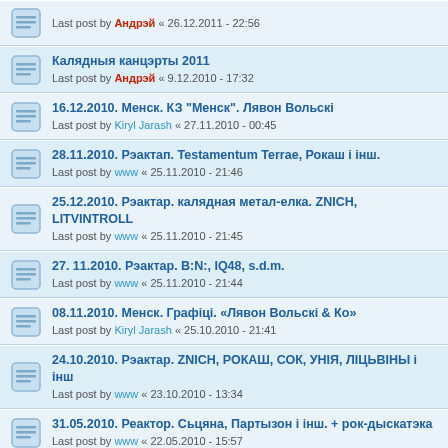Last post by Андрэй « 26.12.2011 - 22:56
Калядныя канцэрты 2011
Last post by Андрэй « 9.12.2010 - 17:32
16.12.2010. Менск. КЗ "Менск". Лявон Вольскі
Last post by Kiryl Jarash « 27.11.2010 - 00:45
28.11.2010. Рэактап. Testamentum Terrae, Рокаш і інш.
Last post by www « 25.11.2010 - 21:46
25.12.2010. Рэактар. калядная метал-елка. ZNICH, LITVINTROLL
Last post by www « 25.11.2010 - 21:45
27. 11.2010. Рэактар. B:N:, IQ48, s.d.m.
Last post by www « 25.11.2010 - 21:44
08.11.2010. Менск. Графіці. «Лявон Вольскі & Ко»
Last post by Kiryl Jarash « 25.10.2010 - 21:41
24.10.2010. Рэактар. ZNICH, РОКАШ, СОК, УНІЯ, ЛІЦЬВІНЫ і інш
Last post by www « 23.10.2010 - 13:34
31.05.2010. Реактор. Сьцяна, Партызон і інш. + рок-дыскатэка
Last post by www « 22.05.2010 - 15:57
19.05.2010. Танцпляцоўка парка чалюскінцаў. ДУДАРСКІ ФЭСТ.
Last post by www « 26.04.2010 - 21:58